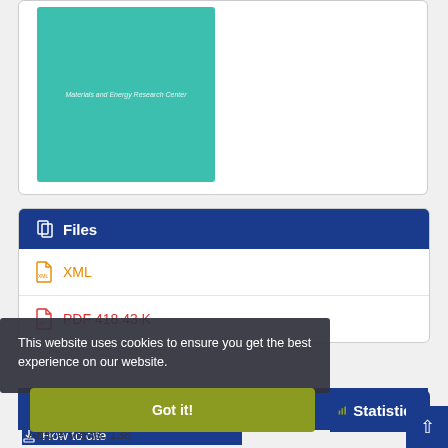[Figure (logo): Teal/turquoise rectangle with italic text reading 'Materials and Energy Research Center']
Files
XML
PDF 418.43 K
Share
This website uses cookies to ensure you get the best experience on our website.
How to cite
Got it!
Statistics
Article Views: 138